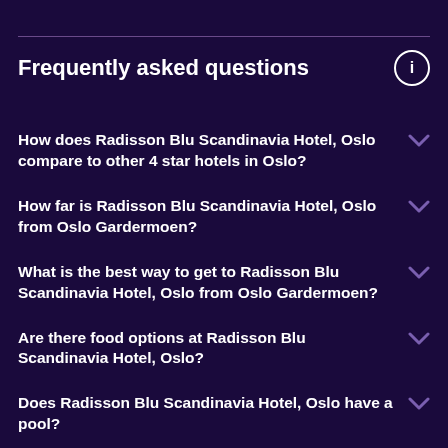Frequently asked questions
How does Radisson Blu Scandinavia Hotel, Oslo compare to other 4 star hotels in Oslo?
How far is Radisson Blu Scandinavia Hotel, Oslo from Oslo Gardermoen?
What is the best way to get to Radisson Blu Scandinavia Hotel, Oslo from Oslo Gardermoen?
Are there food options at Radisson Blu Scandinavia Hotel, Oslo?
Does Radisson Blu Scandinavia Hotel, Oslo have a pool?